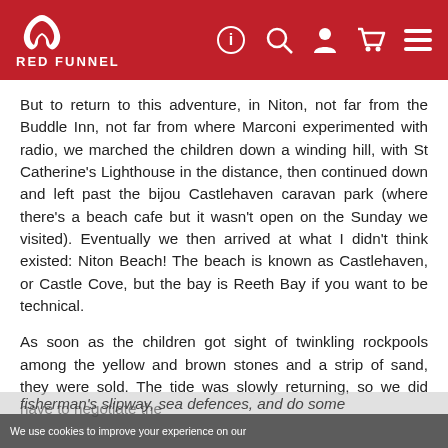RED FUNNEL
But to return to this adventure, in Niton, not far from the Buddle Inn, not far from where Marconi experimented with radio, we marched the children down a winding hill, with St Catherine's Lighthouse in the distance, then continued down and left past the bijou Castlehaven caravan park (where there's a beach cafe but it wasn't open on the Sunday we visited). Eventually we then arrived at what I didn't think existed: Niton Beach! The beach is known as Castlehaven, or Castle Cove, but the bay is Reeth Bay if you want to be technical.
As soon as the children got sight of twinkling rockpools among the yellow and brown stones and a strip of sand, they were sold. The tide was slowly returning, so we did have to negotiate the fisherman's slipway, sea defences, and do some
We use cookies to improve your experience on our